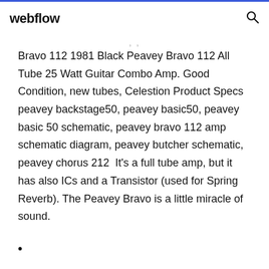webflow
Bravo 112 1981 Black Peavey Bravo 112 All Tube 25 Watt Guitar Combo Amp. Good Condition, new tubes, Celestion Product Specs  peavey backstage50, peavey basic50, peavey basic 50 schematic, peavey bravo 112 amp schematic diagram, peavey butcher schematic, peavey chorus 212  It's a full tube amp, but it has also ICs and a Transistor (used for Spring Reverb). The Peavey Bravo is a little miracle of sound.